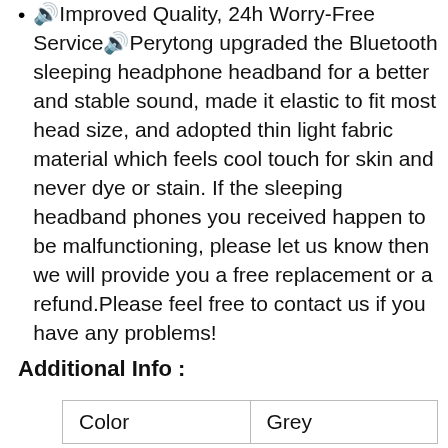🔊Improved Quality, 24h Worry-Free Service🔊Perytong upgraded the Bluetooth sleeping headphone headband for a better and stable sound, made it elastic to fit most head size, and adopted thin light fabric material which feels cool touch for skin and never dye or stain. If the sleeping headband phones you received happen to be malfunctioning, please let us know then we will provide you a free replacement or a refund.Please feel free to contact us if you have any problems!
Additional Info :
| Color | Grey |